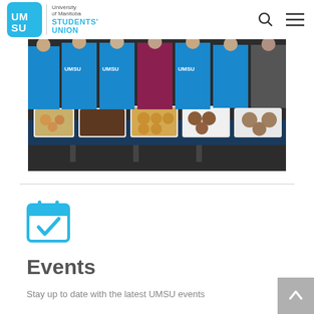UMSU - University of Manitoba Students' Union
[Figure (photo): Students wearing blue UMSU t-shirts standing behind a table with trays of baked goods including cookies and muffins]
[Figure (illustration): Blue calendar icon with a checkmark]
Events
Stay up to date with the latest UMSU events